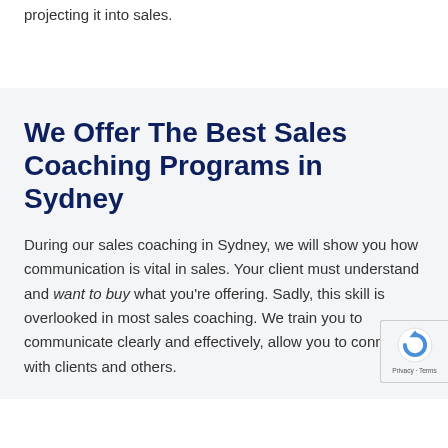projecting it into sales.
We Offer The Best Sales Coaching Programs in Sydney
During our sales coaching in Sydney, we will show you how communication is vital in sales. Your client must understand and want to buy what you're offering. Sadly, this skill is overlooked in most sales coaching. We train you to communicate clearly and effectively, allowing you to connect with clients and others.